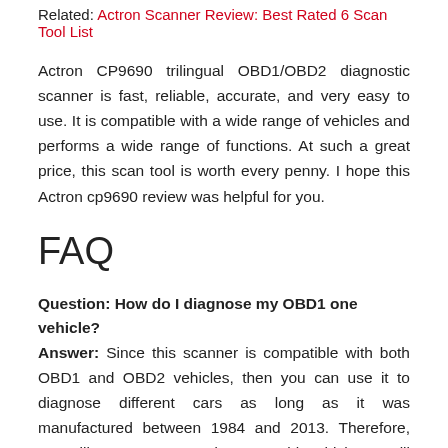Related: Actron Scanner Review: Best Rated 6 Scan Tool List
Actron CP9690 trilingual OBD1/OBD2 diagnostic scanner is fast, reliable, accurate, and very easy to use. It is compatible with a wide range of vehicles and performs a wide range of functions. At such a great price, this scan tool is worth every penny. I hope this Actron cp9690 review was helpful for you.
FAQ
Question: How do I diagnose my OBD1 one vehicle?
Answer: Since this scanner is compatible with both OBD1 and OBD2 vehicles, then you can use it to diagnose different cars as long as it was manufactured between 1984 and 2013. Therefore, you will get an OBD1 and OBD2 cable which you will have to connect while diagnosing the respective vehicle. For the rest of the process, you can follow your user manual